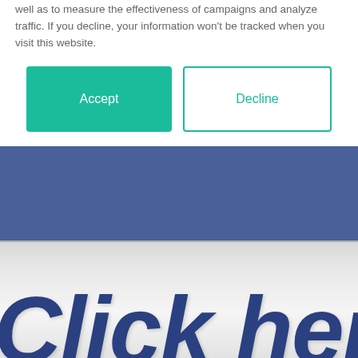well as to measure the effectiveness of campaigns and analyze traffic. If you decline, your information won't be tracked when you visit this website.
[Figure (screenshot): Cookie consent dialog with two buttons: a teal/green 'Accept' button and a white 'Decline' button with teal border]
[Figure (screenshot): Large blue banner section followed by a silver/gray button with italic bold dark blue text reading 'Click here' (partially cropped on right)]